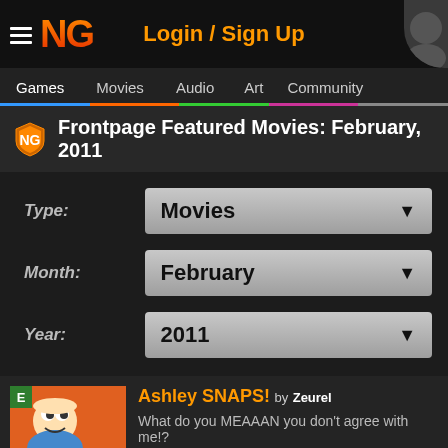NG — Login / Sign Up
Games | Movies | Audio | Art | Community
Frontpage Featured Movies: February, 2011
Type: Movies
Month: February
Year: 2011
Ashley SNAPS! by Zeurel — What do you MEAAAN you don't agree with me!?
SicTV Channel 2 by FleckoGold — So what's on tonight?